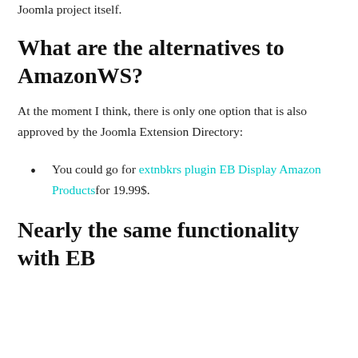Joomla project itself.
What are the alternatives to AmazonWS?
At the moment I think, there is only one option that is also approved by the Joomla Extension Directory:
You could go for extnbkrs plugin EB Display Amazon Productsfor 19.99$.
Nearly the same functionality with EB